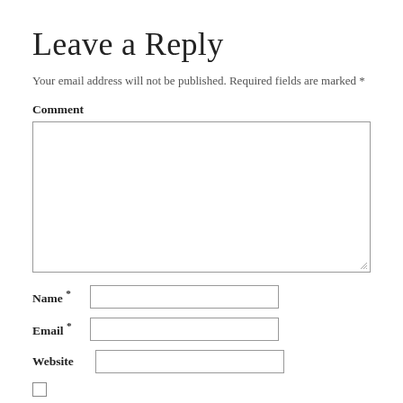Leave a Reply
Your email address will not be published. Required fields are marked *
Comment
[Comment textarea field]
Name *  [input field]
Email *  [input field]
Website  [input field]
[checkbox] Save my name, email, and website in this browser for the